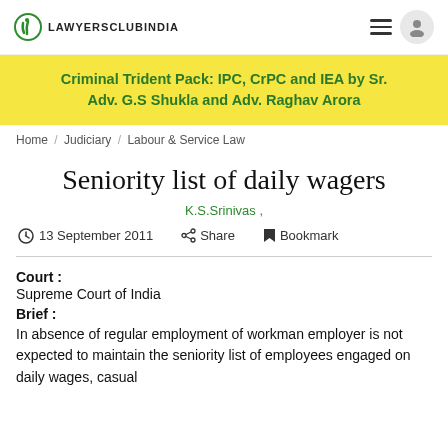LAWYERSCLUBINDIA
[Figure (infographic): Yellow banner advertisement: Criminal Trident Pack: IPC, CrPC and IEA by Sr. Adv. G.S Shukla and Adv. Raghav Arora]
Home / Judiciary / Labour & Service Law
Seniority list of daily wagers
K.S.Srinivas ,
13 September 2011   Share   Bookmark
Court :
Supreme Court of India
Brief :
In absence of regular employment of workman employer is not expected to maintain the seniority list of employees engaged on daily wages, casual